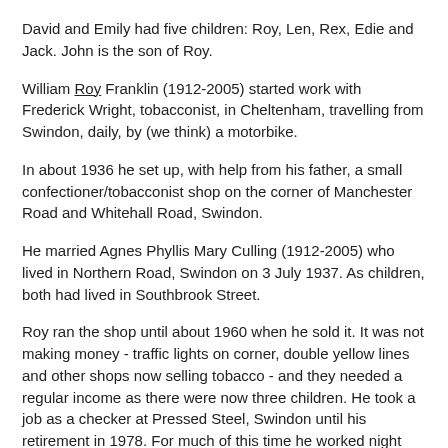David and Emily had five children: Roy, Len, Rex, Edie and Jack. John is the son of Roy.
William Roy Franklin (1912-2005) started work with Frederick Wright, tobacconist, in Cheltenham, travelling from Swindon, daily, by (we think) a motorbike.
In about 1936 he set up, with help from his father, a small confectioner/tobacconist shop on the corner of Manchester Road and Whitehall Road, Swindon.
He married Agnes Phyllis Mary Culling (1912-2005) who lived in Northern Road, Swindon on 3 July 1937. As children, both had lived in Southbrook Street.
Roy ran the shop until about 1960 when he sold it. It was not making money - traffic lights on corner, double yellow lines and other shops now selling tobacco - and they needed a regular income as there were now three children. He took a job as a checker at Pressed Steel, Swindon until his retirement in 1978. For much of this time he worked night shifts.